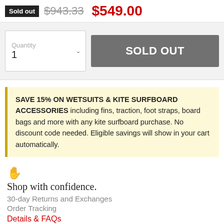Sold out  $943.33  $549.00
Quantity 1  SOLD OUT
SAVE 15% ON WETSUITS & KITE SURFBOARD ACCESSORIES including fins, traction, foot straps, board bags and more with any kite surfboard purchase. No discount code needed. Eligible savings will show in your cart automatically.
Shop with confidence.
30-day Returns and Exchanges
Order Tracking
Details & FAQs